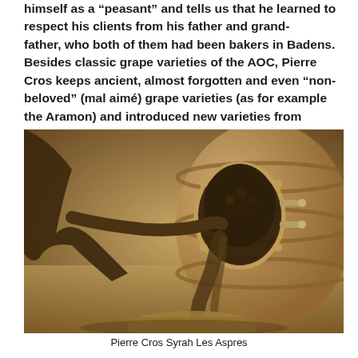himself as a “peasant” and tells us that he learned to respect his clients from his father and grand-father, who both of them had been bakers in Badens. Besides classic grape varieties of the AOC, Pierre Cros keeps ancient, almost forgotten and even “non-beloved” (mal aimé) grape varieties (as for example the Aramon) and introduced new varieties from abroad.
[Figure (photo): Sepia-toned photograph of a person emptying grapes from a barrel hatch into a container below, in a winery setting.]
Pierre Cros Syrah Les Aspres